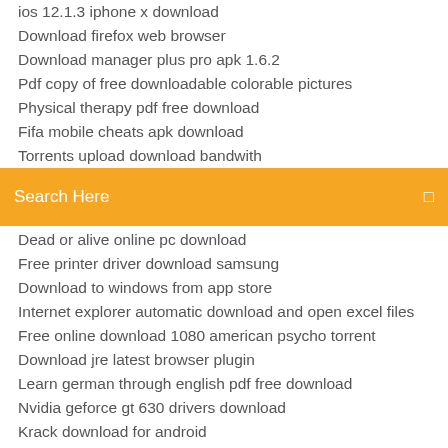ios 12.1.3 iphone x download
Download firefox web browser
Download manager plus pro apk 1.6.2
Pdf copy of free downloadable colorable pictures
Physical therapy pdf free download
Fifa mobile cheats apk download
Torrents upload download bandwith
Search Here
Dead or alive online pc download
Free printer driver download samsung
Download to windows from app store
Internet explorer automatic download and open excel files
Free online download 1080 american psycho torrent
Download jre latest browser plugin
Learn german through english pdf free download
Nvidia geforce gt 630 drivers download
Krack download for android
Android app to download wistia videos reddit